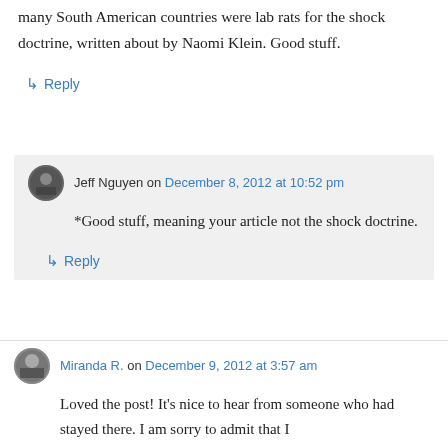many South American countries were lab rats for the shock doctrine, written about by Naomi Klein. Good stuff.
↳ Reply
Jeff Nguyen on December 8, 2012 at 10:52 pm
*Good stuff, meaning your article not the shock doctrine.
↳ Reply
Miranda R. on December 9, 2012 at 3:57 am
Loved the post! It's nice to hear from someone who had stayed there. I am sorry to admit that I